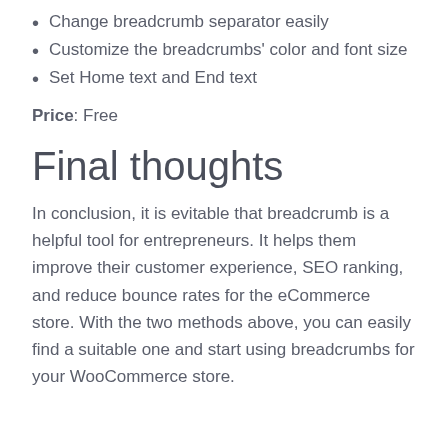Change breadcrumb separator easily
Customize the breadcrumbs' color and font size
Set Home text and End text
Price: Free
Final thoughts
In conclusion, it is evitable that breadcrumb is a helpful tool for entrepreneurs. It helps them improve their customer experience, SEO ranking, and reduce bounce rates for the eCommerce store. With the two methods above, you can easily find a suitable one and start using breadcrumbs for your WooCommerce store.